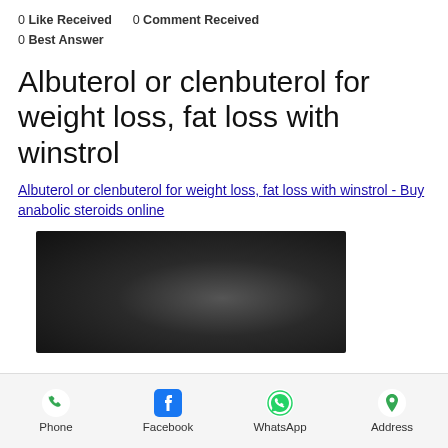0 Like Received   0 Comment Received
0 Best Answer
Albuterol or clenbuterol for weight loss, fat loss with winstrol
Albuterol or clenbuterol for weight loss, fat loss with winstrol - Buy anabolic steroids online
[Figure (photo): Dark blurred image, possibly a product photo]
Phone   Facebook   WhatsApp   Address